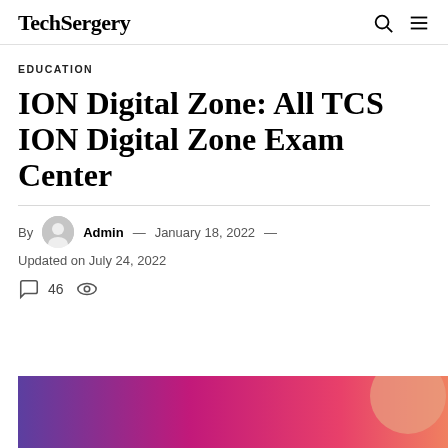TechSergery
EDUCATION
ION Digital Zone: All TCS ION Digital Zone Exam Center
By Admin — January 18, 2022 — Updated on July 24, 2022
46
[Figure (photo): Colorful gradient banner image with purple, pink and orange tones, partially visible at bottom of page]